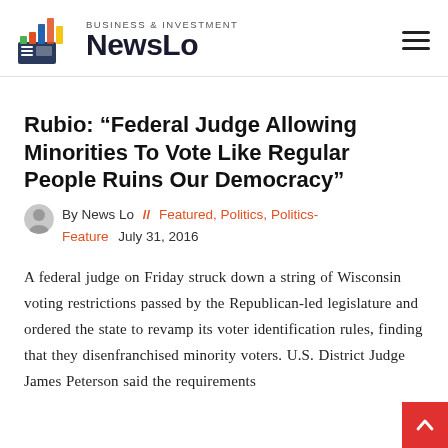BUSINESS & INVESTMENT NewsLo
Rubio: “Federal Judge Allowing Minorities To Vote Like Regular People Ruins Our Democracy”
By News Lo  // Featured, Politics, Politics-Feature   July 31, 2016
A federal judge on Friday struck down a string of Wisconsin voting restrictions passed by the Republican-led legislature and ordered the state to revamp its voter identification rules, finding that they disenfranchised minority voters. U.S. District Judge James Peterson said the requirements